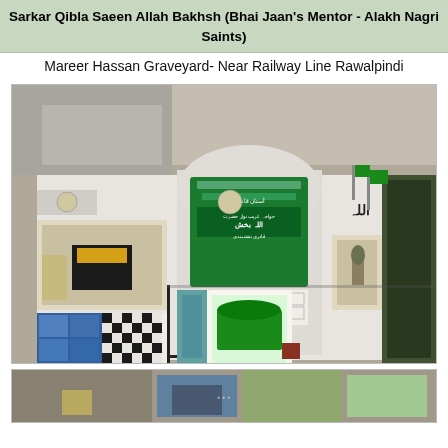Sarkar Qibla Saeen Allah Bakhsh (Bhai Jaan's Mentor - Alakh Nagri Saints)
Mareer Hassan Graveyard- Near Railway Line Rawalpindi
[Figure (photo): Photo of a shrine/tomb entrance with white tiled walls decorated with Islamic calligraphy panels, mosaic tile artwork including images of the Kaaba, a green covered tomb visible through the arched doorway, green flags, and Urdu text signage.]
[Figure (photo): Partial view of another photo of what appears to be the same or related shrine location, partially visible at the bottom of the page.]